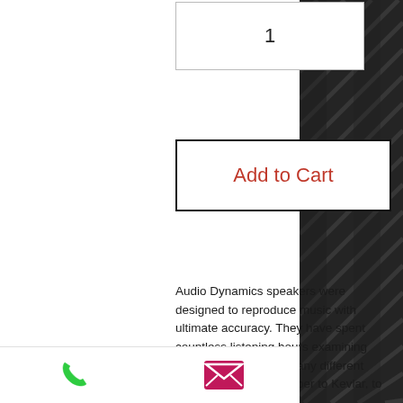| Qty |
| --- |
| 1 |
Add to Cart
Audio Dynamics speakers were designed to reproduce music with ultimate accuracy. They have spent countless listening hours examining the tonal qualities of many different materials; from glass fiber to Kevlar, to carbon fiber and more. Ultimately, they chose wool pulp and paper for their ability to deliver astonishing realism and detailed timbre across the frequency spectrum. In order to combat the moisture in a vehicle, they added an acoustically transparent chemical. As
[Figure (other): Dark textured background on right side, resembling speaker grille or woven material]
[Figure (other): Phone icon in green and email icon in pink/magenta at bottom of page]